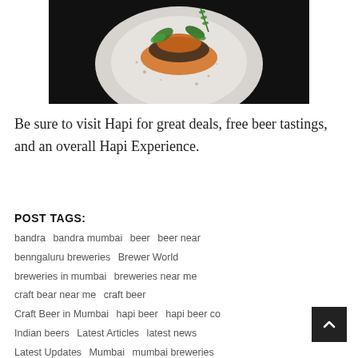[Figure (photo): A gourmet food dish on a white plate, photographed from above on a dark background. The dish appears to be a stack of layered food garnished with fresh mint leaves and a dusting of spice.]
Be sure to visit Hapi for great deals, free beer tastings, and an overall Hapi Experience.
POST TAGS:
bandra  bandra mumbai  beer  beer near  benngaluru breweries  Brewer World  breweries in mumbai  breweries near me  craft bear near me  craft beer  Craft Beer in Mumbai  hapi beer  hapi beer co  Indian beers  Latest Articles  latest news  Latest Updates  Mumbai  mumbai breweries  new place alert  news and gossip